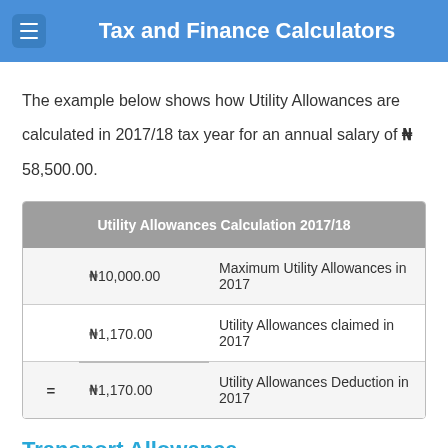Tax and Finance Calculators
The example below shows how Utility Allowances are calculated in 2017/18 tax year for an annual salary of ₦ 58,500.00.
|  |  | Utility Allowances Calculation 2017/18 |
| --- | --- | --- |
|  | ₦10,000.00 | Maximum Utility Allowances in 2017 |
|  | ₦1,170.00 | Utility Allowances claimed in 2017 |
| = | ₦1,170.00 | Utility Allowances Deduction in 2017 |
Transport Allowance